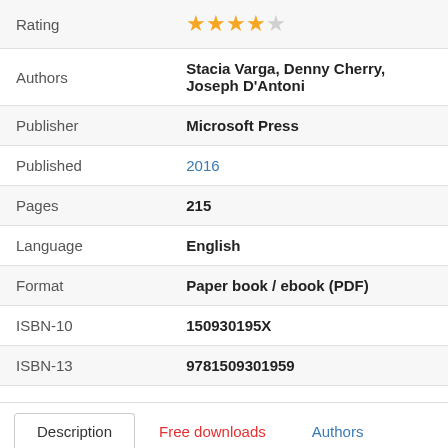| Field | Value |
| --- | --- |
| Rating | ★★★★☆ |
| Authors | Stacia Varga, Denny Cherry, Joseph D'Antoni |
| Publisher | Microsoft Press |
| Published | 2016 |
| Pages | 215 |
| Language | English |
| Format | Paper book / ebook (PDF) |
| ISBN-10 | 150930195X |
| ISBN-13 | 9781509301959 |
Description | Free downloads | Authors
Price history   Reviews